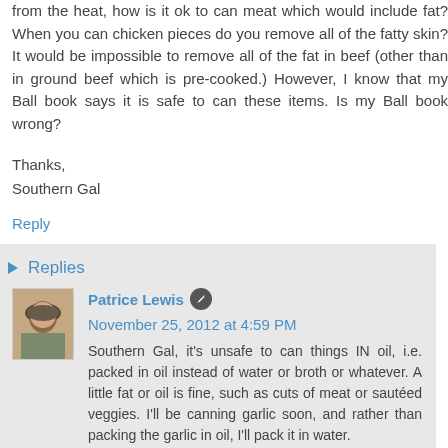from the heat, how is it ok to can meat which would include fat? When you can chicken pieces do you remove all of the fatty skin? It would be impossible to remove all of the fat in beef (other than in ground beef which is pre-cooked.) However, I know that my Ball book says it is safe to can these items. Is my Ball book wrong?
Thanks,
Southern Gal
Reply
Replies
Patrice Lewis
November 25, 2012 at 4:59 PM
Southern Gal, it's unsafe to can things IN oil, i.e. packed in oil instead of water or broth or whatever. A little fat or oil is fine, such as cuts of meat or sautéed veggies. I'll be canning garlic soon, and rather than packing the garlic in oil, I'll pack it in water.